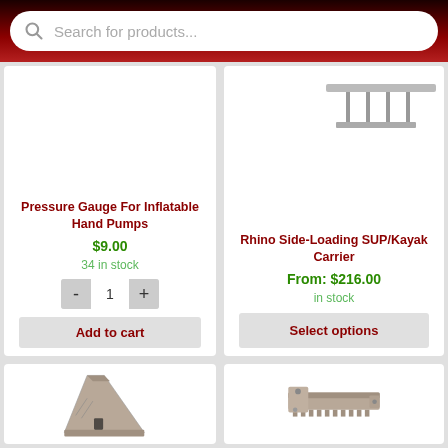[Figure (screenshot): Search bar with magnifying glass icon and placeholder text 'Search for products...' on dark red gradient background]
[Figure (photo): Product image area for Pressure Gauge For Inflatable Hand Pumps (partially visible above fold)]
Pressure Gauge For Inflatable Hand Pumps
$9.00
34 in stock
Add to cart
[Figure (photo): Product image area for Rhino Side-Loading SUP/Kayak Carrier (partially visible, showing rack hardware)]
Rhino Side-Loading SUP/Kayak Carrier
From: $216.00
in stock
Select options
[Figure (photo): Partially visible product image showing a tan/beige colored angled bracket or rail mount hardware component]
[Figure (photo): Partially visible product image showing a tan/beige colored accessory rail or mounting bracket]